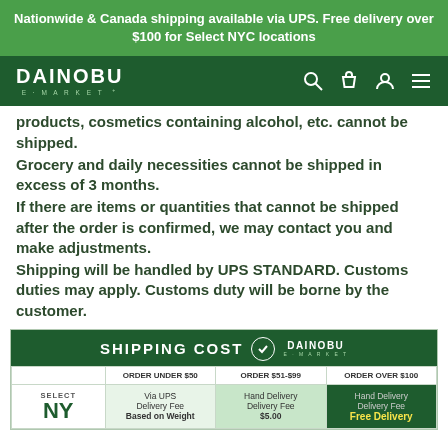Nationwide & Canada shipping available via UPS. Free delivery over $100 for Select NYC locations
products, cosmetics containing alcohol, etc. cannot be shipped.
Grocery and daily necessities cannot be shipped in excess of 3 months.
If there are items or quantities that cannot be shipped after the order is confirmed, we may contact you and make adjustments.
Shipping will be handled by UPS STANDARD. Customs duties may apply. Customs duty will be borne by the customer.
|  | ORDER UNDER $50 | ORDER $51-$99 | ORDER OVER $100 |
| --- | --- | --- | --- |
| SELECT NY | Via UPS Delivery Fee Based on Weight | Hand Delivery Delivery Fee $5.00 | Hand Delivery Free Delivery |